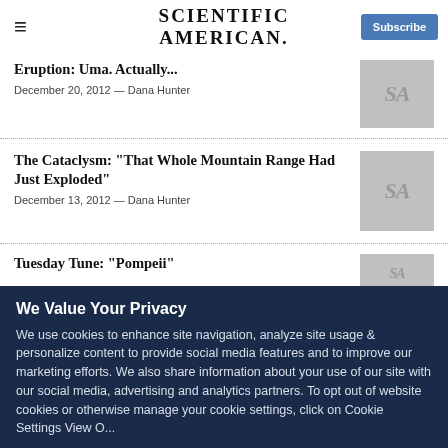SCIENTIFIC AMERICAN
Eruption: Uma. Actually...
December 20, 2012 — Dana Hunter
The Cataclysm: "That Whole Mountain Range Had Just Exploded"
December 13, 2012 — Dana Hunter
Tuesday Tune: "Pompeii"
We Value Your Privacy

We use cookies to enhance site navigation, analyze site usage & personalize content to provide social media features and to improve our marketing efforts. We also share information about your use of our site with our social media, advertising and analytics partners. To opt out of website cookies or otherwise manage your cookie settings, click on Cookie Settings View O...